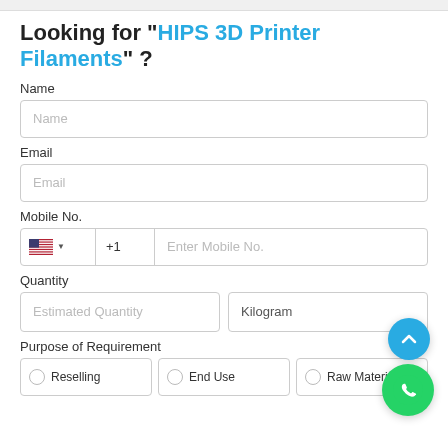Looking for "HIPS 3D Printer Filaments" ?
Name
Name (placeholder)
Email
Email (placeholder)
Mobile No.
+1   Enter Mobile No.
Quantity
Estimated Quantity   Kilogram
Purpose of Requirement
Reselling   End Use   Raw Material